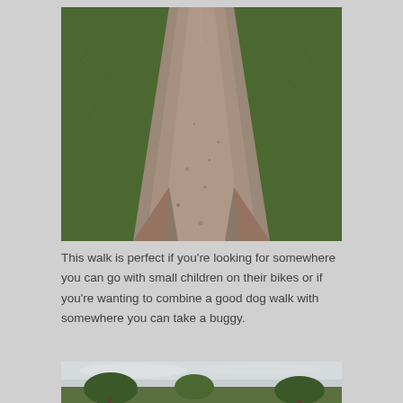[Figure (photo): A straight gravel path stretching into the distance, flanked by green grass on both sides, viewed from ground level looking forward.]
This walk is perfect if you're looking for somewhere you can go with small children on their bikes or if you're wanting to combine a good dog walk with somewhere you can take a buggy.
[Figure (photo): Partial view of a landscape with trees and an overcast sky, partially cropped at the bottom of the page.]